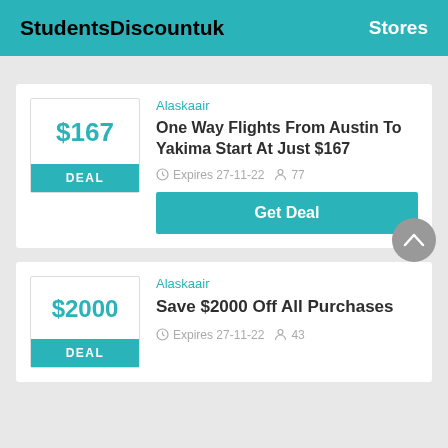StudentsDiscountuk  Stores
Alaskaair
One Way Flights From Austin To Yakima Start At Just $167
Expires 27-11-22  77
Get Deal
Alaskaair
Save $2000 Off All Purchases
Expires 27-11-22  43